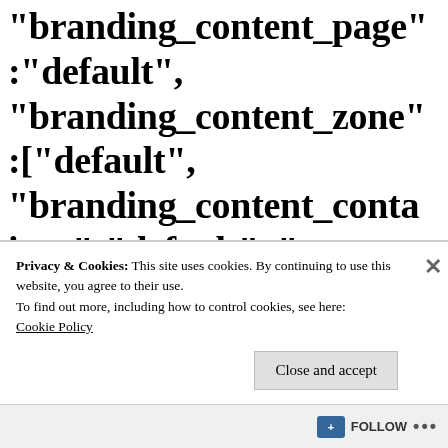"branding_content_page":"default", "branding_content_zone":["default", "branding_content_container":"default", "cnn-money-markets", "space-and-science", "branding_content_card":
Privacy & Cookies: This site uses cookies. By continuing to use this website, you agree to their use.
To find out more, including how to control cookies, see here:
Cookie Policy
Close and accept
FOLLOW ...